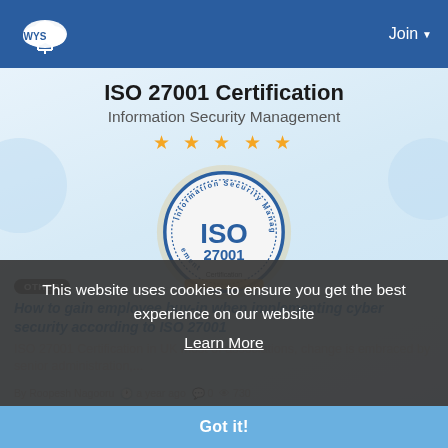WYS | Join
[Figure (illustration): ISO 27001 Certification badge with stars, Information Security Management circular seal with golden laurel wreath, on a light blue gradient background]
ISO 27001 Certification
Information Security Management
This website uses cookies to ensure you get the best experience on our website
Learn More
How to gain employee buy-in when implementing cyber security according to ISO 27001
ISO 27001 Certification in UK most of associations, change is embraced by senior administration,...
By Roopesh Nagooru  a year ago  0  730
Got it!